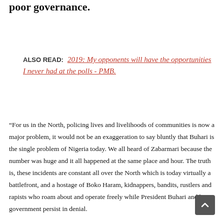poor governance.
ALSO READ:  2019: My opponents will have the opportunities I never had at the polls - PMB.
“For us in the North, policing lives and livelihoods of communities is now a major problem, it would not be an exaggeration to say bluntly that Buhari is the single problem of Nigeria today. We all heard of Zabarmari because the number was huge and it all happened at the same place and hour. The truth is, these incidents are constant all over the North which is today virtually a battlefront, and a hostage of Boko Haram, kidnappers, bandits, rustlers and rapists who roam about and operate freely while President Buhari and his government persist in denial.